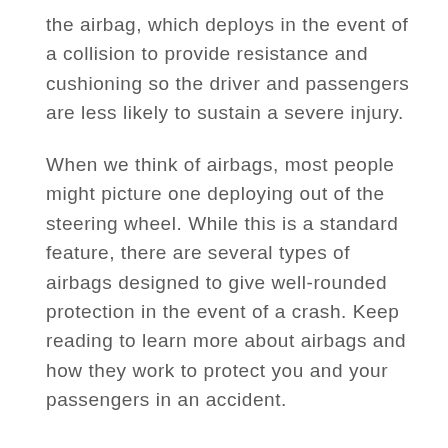the airbag, which deploys in the event of a collision to provide resistance and cushioning so the driver and passengers are less likely to sustain a severe injury.
When we think of airbags, most people might picture one deploying out of the steering wheel. While this is a standard feature, there are several types of airbags designed to give well-rounded protection in the event of a crash. Keep reading to learn more about airbags and how they work to protect you and your passengers in an accident.